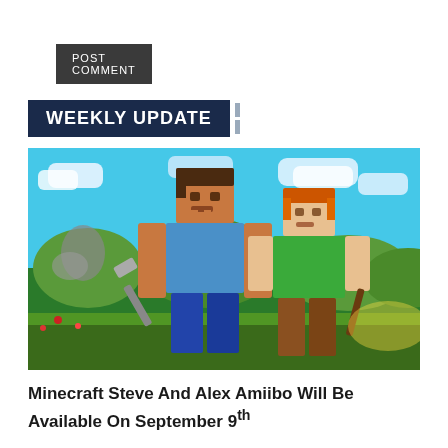POST COMMENT
WEEKLY UPDATE
[Figure (illustration): Two Minecraft characters, Steve and Alex, rendered in a 3D animated style standing in a colorful Minecraft world landscape with blue sky and green terrain.]
Minecraft Steve And Alex Amiibo Will Be Available On September 9th